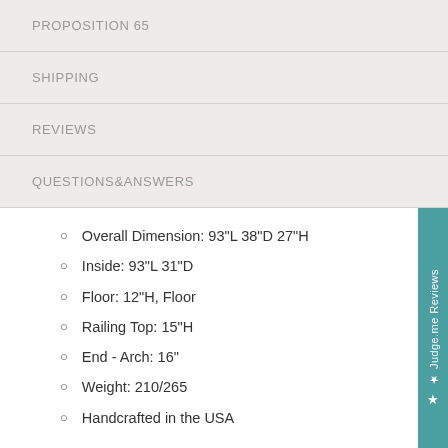PROPOSITION 65
SHIPPING
REVIEWS
QUESTIONS&ANSWERS
Overall Dimension: 93"L 38"D 27"H
Inside: 93"L 31"D
Floor: 12"H, Floor
Railing Top: 15"H
End - Arch: 16"
Weight: 210/265
Handcrafted in the USA